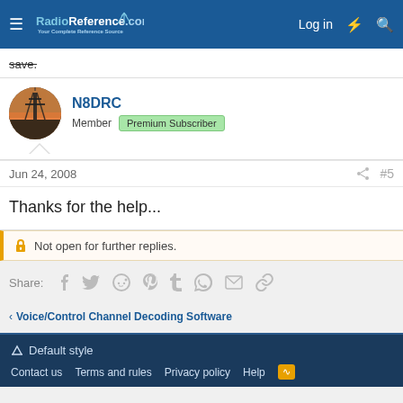RadioReference.com — Log in
save.
N8DRC
Member  Premium Subscriber
Jun 24, 2008  #5
Thanks for the help...
Not open for further replies.
Share:
Voice/Control Channel Decoding Software
Default style
Contact us  Terms and rules  Privacy policy  Help